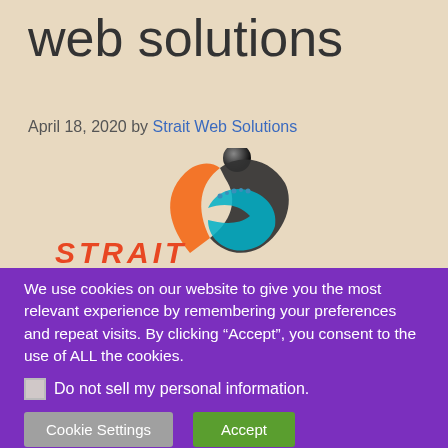web solutions
April 18, 2020 by Strait Web Solutions
[Figure (logo): Strait Web Solutions logo: abstract swirling design with orange, teal/blue, and dark grey flame-like shapes, topped with a black sphere, with 'STRAIT' text in red-orange italic below]
We use cookies on our website to give you the most relevant experience by remembering your preferences and repeat visits. By clicking “Accept”, you consent to the use of ALL the cookies.
Do not sell my personal information.
Cookie Settings   Accept